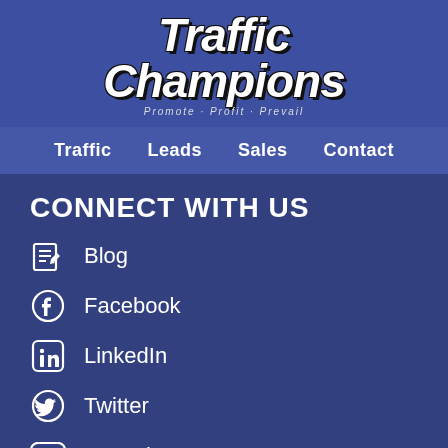[Figure (logo): Traffic Champions logo with tagline 'Promote · Profit · Prevail']
Traffic  Leads  Sales  Contact
CONNECT WITH US
Blog
Facebook
LinkedIn
Twitter
YouTube
CONTACT US
morgan@trafficchampions.com
© 2021 Traffic Champions. All Rights Reserved.